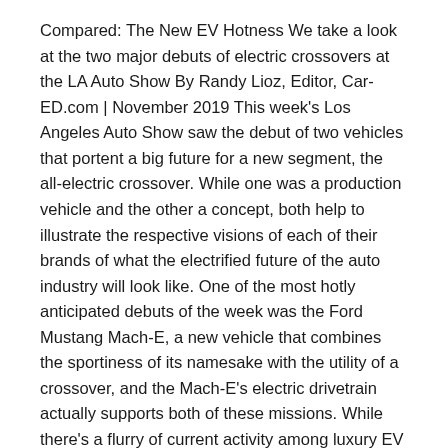Compared: The New EV Hotness We take a look at the two major debuts of electric crossovers at the LA Auto Show By Randy Lioz, Editor, Car-ED.com | November 2019 This week's Los Angeles Auto Show saw the debut of two vehicles that portent a big future for a new segment, the all-electric crossover. While one was a production vehicle and the other a concept, both help to illustrate the respective visions of each of their brands of what the electrified future of the auto industry will look like. One of the most hotly anticipated debuts of the week was the Ford Mustang Mach-E, a new vehicle that combines the sportiness of its namesake with the utility of a crossover, and the Mach-E's electric drivetrain actually supports both of these missions. While there's a flurry of current activity among luxury EV crossovers, especially from Europe, when the Mach-E hits the market in late 2020 it will likely be the first entry of decent size from a mainstream brand—the Hyundai Kona being too small for many buyers. That likelihood depends on the timing of Volkswagen's ID.4, another all-electric SUV from a brand that wants to own the EV space in the U.S. market. But the ID.4